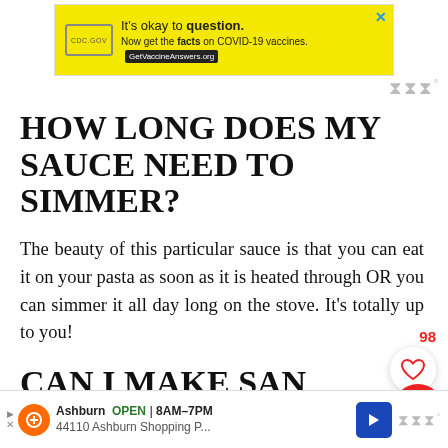[Figure (screenshot): Yellow advertisement banner: 'It's okay to question. Now get the facts on COVID-19 vaccines. GetVaccineAnswers.org' with X close button]
[Figure (logo): Whisk wordmark logo top right in grey]
HOW LONG DOES MY SAUCE NEED TO SIMMER?
The beauty of this particular sauce is that you can eat it on your pasta as soon as it is heated through OR you can simmer it all day long on the stove. It's totally up to you!
[Figure (other): Like count '98' in red and white heart like button circle]
[Figure (other): Red search button circle with magnifying glass icon]
CAN I MAKE SAN MARZANO TOMATO SAUCE IN A
[Figure (screenshot): Bottom advertisement bar: Ashburn OPEN 8AM-7PM, 44110 Ashburn Shopping P... with navigation arrow and Whisk logo]